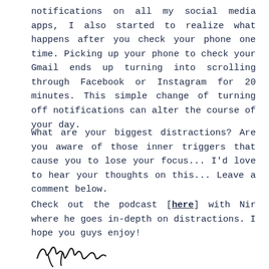notifications on all my social media apps, I also started to realize what happens after you check your phone one time. Picking up your phone to check your Gmail ends up turning into scrolling through Facebook or Instagram for 20 minutes. This simple change of turning off notifications can alter the course of your day.
What are your biggest distractions? Are you aware of those inner triggers that cause you to lose your focus... I'd love to hear your thoughts on this... Leave a comment below.
Check out the podcast [here] with Nir where he goes in-depth on distractions. I hope you guys enjoy!
[Figure (illustration): Handwritten signature]